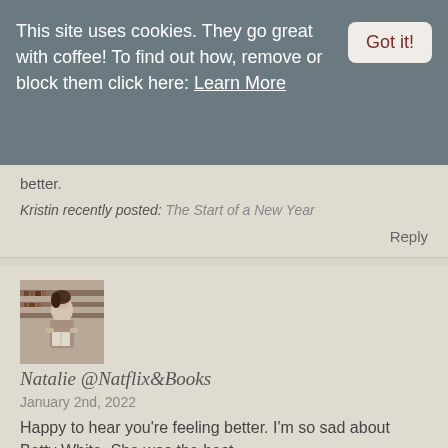This site uses cookies. They go great with coffee! To find out how, remove or block them click here: Learn More
Got it!
better.
Kristin recently posted: The Start of a New Year
Reply
[Figure (photo): Black and white vintage photo of a woman reading a book in front of a bookshelf]
Natalie @Natflix&Books
January 2nd, 2022
Happy to hear you're feeling better. I'm so sad about Betty White. She was the best.